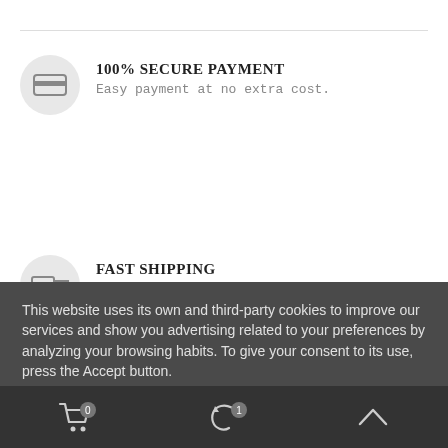100% SECURE PAYMENT
Easy payment at no extra cost.
FAST SHIPPING
This website uses its own and third-party cookies to improve our services and show you advertising related to your preferences by analyzing your browsing habits. To give your consent to its use, press the Accept button.
More information
Customize cookies
REJECT ALL
I ACCEPT
0  1